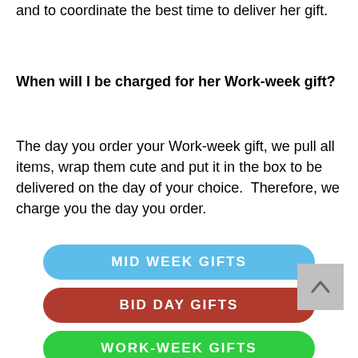and to coordinate the best time to deliver her gift.
When will I be charged for her Work-week gift?
The day you order your Work-week gift, we pull all items, wrap them cute and put it in the box to be delivered on the day of your choice.  Therefore, we charge you the day you order.
[Figure (other): Three pill-shaped buttons: 'MID WEEK GIFTS' in blue, 'BID DAY GIFTS' in dark red, 'WORK-WEEK GIFTS' in green]
[Figure (other): Gray back-to-top button with upward chevron arrow]